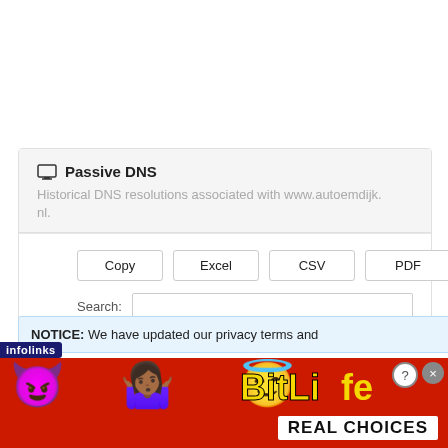Passive DNS
Historical DNS resolutions associated with www.autoemdijk.nl.
Copy  Excel  CSV  PDF
Search:
NOTICE: We have updated our privacy terms and
[Figure (screenshot): BitLife advertisement banner with emojis (devil, person, angel), sperm icon, BitLife logo in yellow, and 'REAL CHOICES' text on white background. Red background. Infolinks badge on left.]